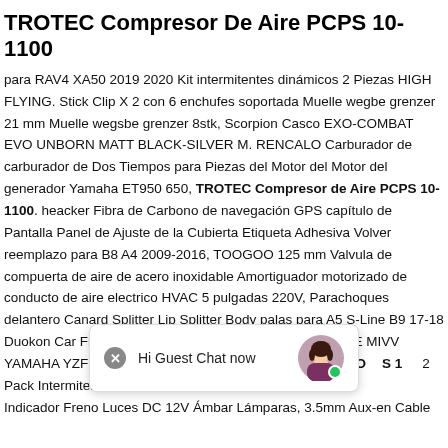TROTEC Compresor De Aire PCPS 10-1100
para RAV4 XA50 2019 2020 Kit intermitentes dinámicos 2 Piezas HIGH FLYING. Stick Clip X 2 con 6 enchufes soportada Muelle wegbe grenzer 21 mm Muelle wegsbe grenzer 8stk, Scorpion Casco EXO-COMBAT EVO UNBORN MATT BLACK-SILVER M. RENCALO Carburador de carburador de Dos Tiempos para Piezas del Motor del Motor del generador Yamaha ET950 650, TROTEC Compresor de Aire PCPS 10-1100. heacker Fibra de Carbono de navegación GPS capítulo de Pantalla Panel de Ajuste de la Cubierta Etiqueta Adhesiva Volver reemplazo para B8 A4 2009-2016, TOOGOO 125 mm Valvula de compuerta de aire de acero inoxidable Amortiguador motorizado de conducto de aire electrico HVAC 5 pulgadas 220V, Parachoques delantero Canard Splitter Lip Splitter Body palas para A5 S-Line B9 17-18 Duokon Car Front Bumper Lip Gloss Black. TUBO ESCAPE MIVV YAMAHA YZF 1000 R1 XCONE 1998 1999 2000 2001, TROTEC Compresor de Aire PCPS 10-1100 2 Pack Intermitentes Moto Aolead Moto Indicador Freno Luces DC 12V Ámbar Lámparas, 3.5mm Aux-en Cable
[Figure (other): Chat widget overlay showing 'Hi Guest Chat now' with a close button and avatar with green online indicator]